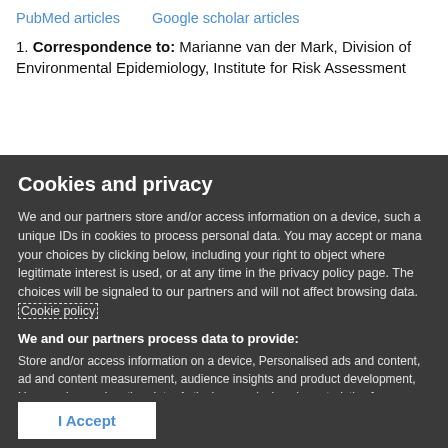PubMed articles   Google scholar articles
1. Correspondence to: Marianne van der Mark, Division of Environmental Epidemiology, Institute for Risk Assessment
Cookies and privacy
We and our partners store and/or access information on a device, such as unique IDs in cookies to process personal data. You may accept or manage your choices by clicking below, including your right to object where legitimate interest is used, or at any time in the privacy policy page. These choices will be signaled to our partners and will not affect browsing data. Cookie policy
We and our partners process data to provide:
Store and/or access information on a device, Personalised ads and content, ad and content measurement, audience insights and product development, Use precise geolocation data, Actively scan device characteristics for identification
List of Partners (vendors)
I Accept